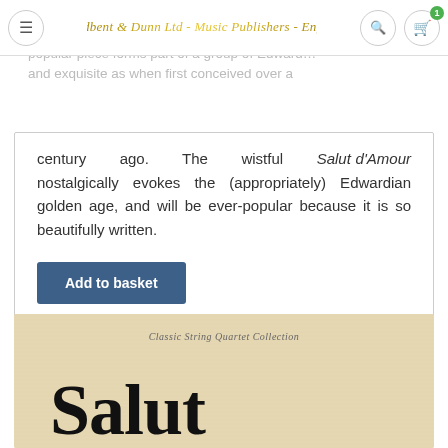Broadbent & Dunn Ltd - Music Publishers - England
popular piece forms part of a group of Edward… and exquisite as when first conceived over a
century ago. The wistful Salut d'Amour nostalgically evokes the (appropriately) Edwardian golden age, and will be ever-popular because it is so beautifully written.
Add to basket
[Figure (photo): Sheet music cover with parchment/cream background showing 'Classic String Quartet Collection' subtitle and large bold title 'Salut']